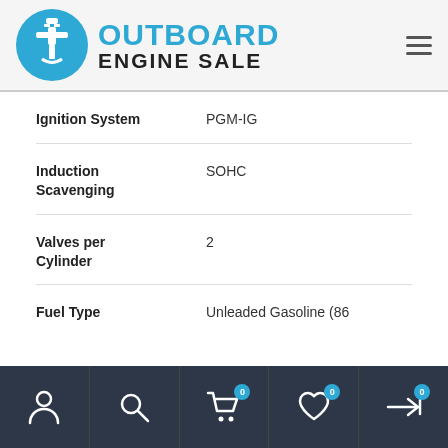[Figure (logo): Outboard Engine Sale logo with blue circle containing outboard motor icon and text 'OUTBOARD ENGINE SALE']
| Specification | Value |
| --- | --- |
| Ignition System | PGM-IG |
| Induction Scavenging | SOHC |
| Valves per Cylinder | 2 |
| Fuel Type | Unleaded Gasoline (86 |